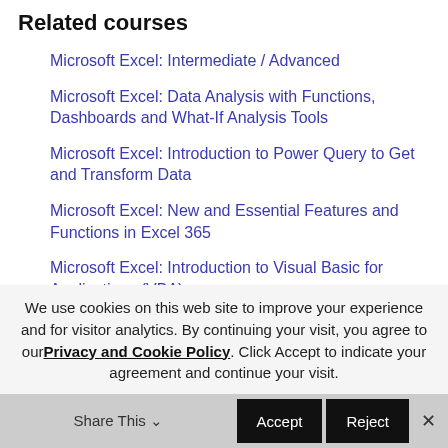Related courses
Microsoft Excel: Intermediate / Advanced
Microsoft Excel: Data Analysis with Functions, Dashboards and What-If Analysis Tools
Microsoft Excel: Introduction to Power Query to Get and Transform Data
Microsoft Excel: New and Essential Features and Functions in Excel 365
Microsoft Excel: Introduction to Visual Basic for Applications (VBA)
We use cookies on this web site to improve your experience and for visitor analytics. By continuing your visit, you agree to our Privacy and Cookie Policy. Click Accept to indicate your agreement and continue your visit.
Share This  Accept  Reject  ×